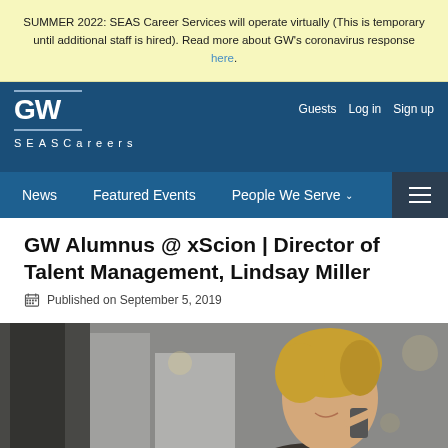SUMMER 2022: SEAS Career Services will operate virtually (This is temporary until additional staff is hired). Read more about GW's coronavirus response here.
GW SEASCareers | Guests  Log in  Sign up
News  Featured Events  People We Serve
GW Alumnus @ xScion | Director of Talent Management, Lindsay Miller
Published on September 5, 2019
[Figure (photo): Photo of Lindsay Miller, a blonde woman talking on a phone, photographed outdoors in an urban setting]